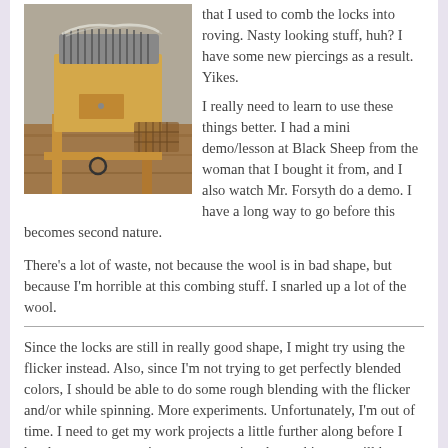[Figure (photo): A wool drum carder or combing device on a wooden stand, photographed indoors on a wooden floor.]
that I used to comb the locks into roving. Nasty looking stuff, huh? I have some new piercings as a result. Yikes.
I really need to learn to use these things better. I had a mini demo/lesson at Black Sheep from the woman that I bought it from, and I also watch Mr. Forsyth do a demo. I have a long way to go before this becomes second nature.
There's a lot of waste, not because the wool is in bad shape, but because I'm horrible at this combing stuff. I snarled up a lot of the wool.
Since the locks are still in really good shape, I might try using the flicker instead. Also, since I'm not trying to get perfectly blended colors, I should be able to do some rough blending with the flicker and/or while spinning. More experiments. Unfortunately, I'm out of time. I need to get my work projects a little further along before I head out on my vacation, not to mention the packing we still have to do.